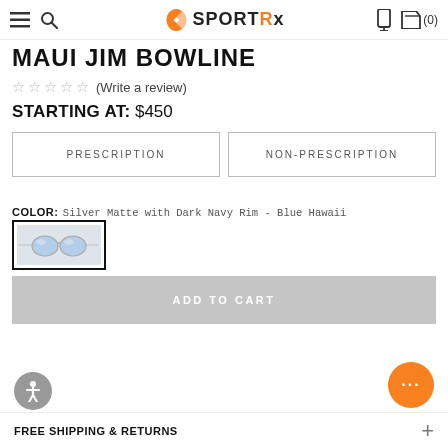SportRx
MAUI JIM BOWLINE
☆☆☆☆☆ (Write a review)
STARTING AT: $450
PRESCRIPTION
NON-PRESCRIPTION
COLOR: Silver Matte with Dark Navy Rim - Blue Hawaii
[Figure (photo): Sunglasses color swatch showing silver frame with blue lenses]
ADD TO CART
FREE SHIPPING & RETURNS